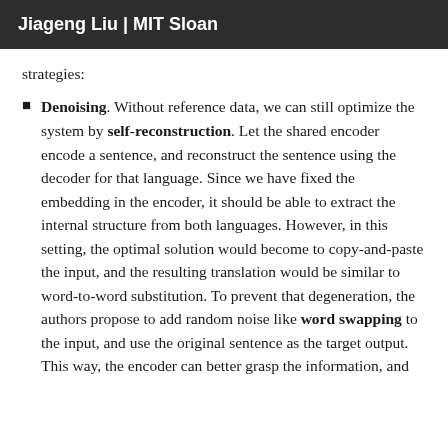Jiageng Liu | MIT Sloan
strategies:
Denoising. Without reference data, we can still optimize the system by self-reconstruction. Let the shared encoder encode a sentence, and reconstruct the sentence using the decoder for that language. Since we have fixed the embedding in the encoder, it should be able to extract the internal structure from both languages. However, in this setting, the optimal solution would become to copy-and-paste the input, and the resulting translation would be similar to word-to-word substitution. To prevent that degeneration, the authors propose to add random noise like word swapping to the input, and use the original sentence as the target output. This way, the encoder can better grasp the information, and